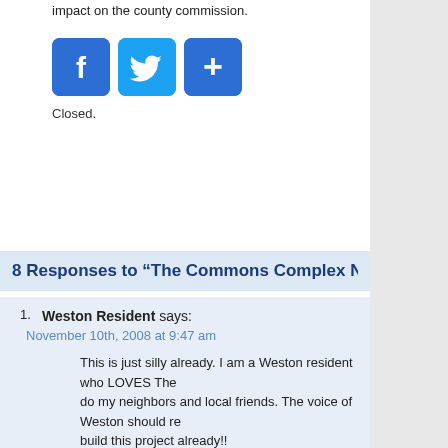impact on the county commission.
[Figure (other): Social sharing buttons: Facebook (blue with F), Twitter (blue with bird), Share (blue with plus sign)]
Closed.
8 Responses to “The Commons Complex Not Fair To We…
Weston Resident says:
November 10th, 2008 at 9:47 am
This is just silly already. I am a Weston resident who LOVES The… do my neighbors and local friends. The voice of Weston should re… build this project already!!
Davie Matters says:
November 10th, 2008 at 12:03 pm